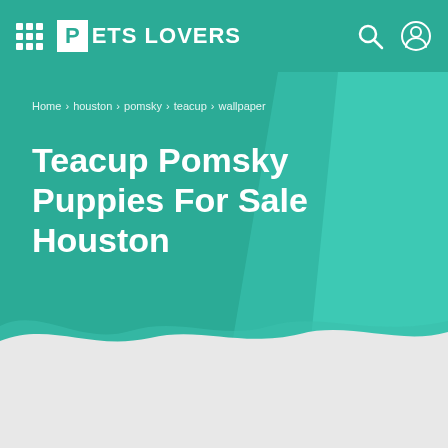PETS LOVERS
Home › houston › pomsky › teacup › wallpaper
Teacup Pomsky Puppies For Sale Houston